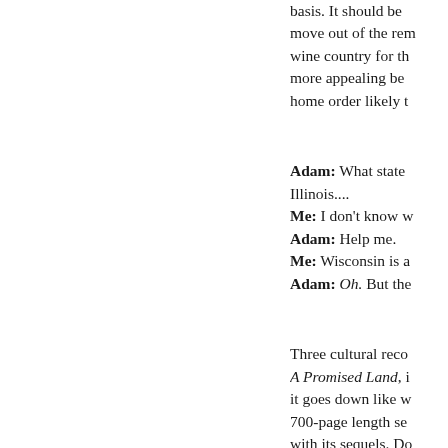basis. It should be move out of the rem wine country for th more appealing be home order likely t
Adam: What state Illinois.... Me: I don't know w Adam: Help me. Me: Wisconsin is a Adam: Oh. But the
Three cultural reco A Promised Land, i it goes down like w 700-page length se with its sequels. Do